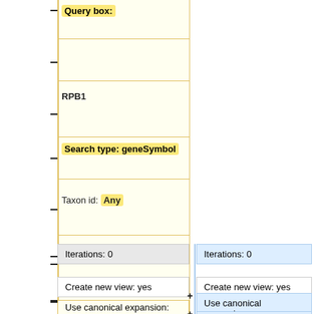[Figure (flowchart): A two-column diff/comparison flowchart showing query box parameters on the left (Query box, RPB1, Search type: geneSymbol, Taxon id: Any) with timeline tick marks and horizontal dividers, and a right column showing iterations, create new view, use canonical expansion, No results returned, and Pass entries with blue highlighting and plus markers.]